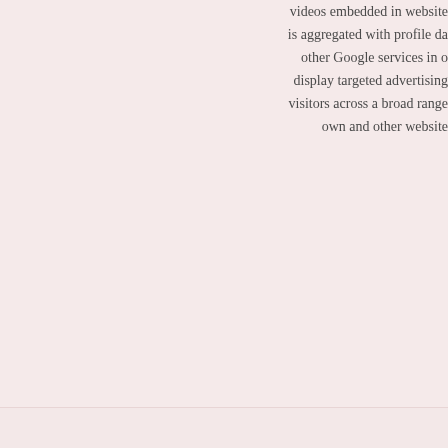videos embedded in websites is aggregated with profile data other Google services in order to display targeted advertising to visitors across a broad range of own and other websites.
NID   Google Inc. Although Google is primarily known as a search engine, the company provides a diverse range of products and services. Its main source of revenue however is advertising. Google tracks users extensively both through its own products and sites, and through numerous technologies embedded into millions of other...